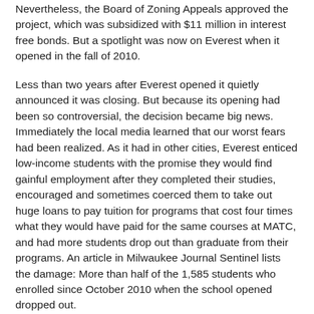Nevertheless, the Board of Zoning Appeals approved the project, which was subsidized with $11 million in interest free bonds. But a spotlight was now on Everest when it opened in the fall of 2010.
Less than two years after Everest opened it quietly announced it was closing. But because its opening had been so controversial, the decision became big news. Immediately the local media learned that our worst fears had been realized. As it had in other cities, Everest enticed low-income students with the promise they would find gainful employment after they completed their studies, encouraged and sometimes coerced them to take out huge loans to pay tuition for programs that cost four times what they would have paid for the same courses at MATC, and had more students drop out than graduate from their programs. An article in Milwaukee Journal Sentinel lists the damage: More than half of the 1,585 students who enrolled since October 2010 when the school opened dropped out.
Everest placed only 95 students by the end of July—less than 6 percent of enrollees and 25 percent of its graduates.